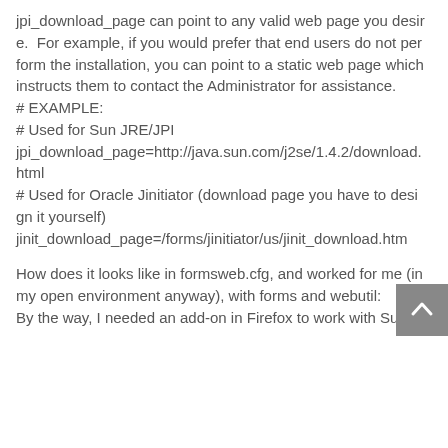jpi_download_page can point to any valid web page you desire.  For example, if you would prefer that end users do not perform the installation, you can point to a static web page which instructs them to contact the Administrator for assistance.
# EXAMPLE:
# Used for Sun JRE/JPI
jpi_download_page=http://java.sun.com/j2se/1.4.2/download.html
# Used for Oracle Jinitiator (download page you have to design it yourself)
jinit_download_page=/forms/jinitiator/us/jinit_download.htm
How does it looks like in formsweb.cfg, and worked for me (in my open environment anyway), with forms and webutil:
By the way, I needed an add-on in Firefox to work with Sun: